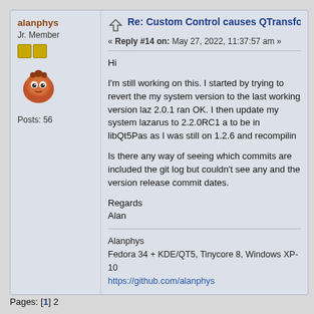Re: Custom Control causes QTransform error
« Reply #14 on: May 27, 2022, 11:37:57 am »
Hi

I'm still working on this. I started by trying to revert the my system version to the last working version laz 2.0.1 ran OK. I then update my system lazarus to 2.2.0RC1 a to be in libQt5Pas as I was still on 1.2.6 and recompiling

Is there any way of seeing which commits are included the git log but couldn't see any and the version release commit dates.

Regards
Alan
Alanphys
Fedora 34 + KDE/QT5, Tinycore 8, Windows XP-10
https://github.com/alanphys
Pages: [1] 2